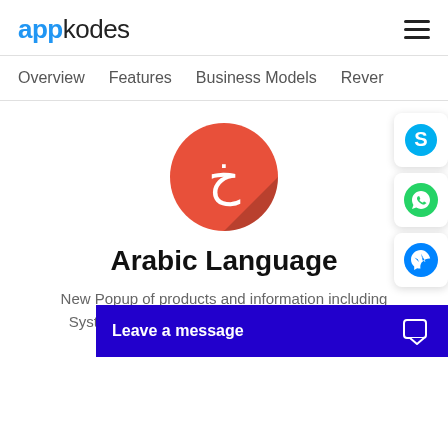appkodes
Overview    Features    Business Models    Rever
[Figure (logo): Orange circle with Arabic letter kha (خ) in white, with a shadow triangle on the lower right]
Arabic Language
New Popup of products and information including System, Word Processing, Fonts, and Desktop Publishing are now language resource
Leave a message